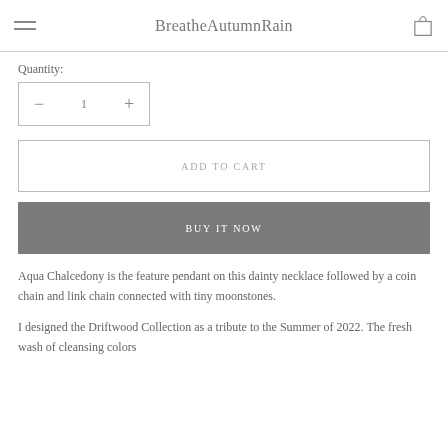BreatheAutumnRain
Quantity:
− 1 +
ADD TO CART
BUY IT NOW
Aqua Chalcedony is the feature pendant on this dainty necklace followed by a coin chain and link chain connected with tiny moonstones.
I designed the Driftwood Collection as a tribute to the Summer of 2022. The fresh wash of cleansing colors